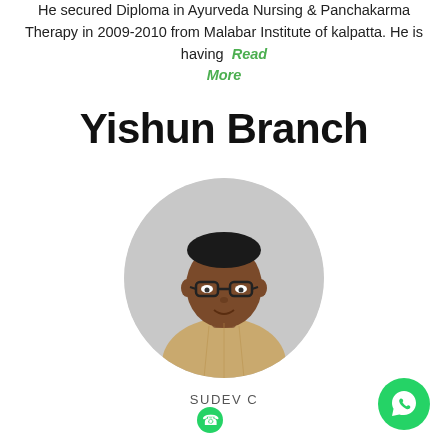He secured Diploma in Ayurveda Nursing & Panchakarma Therapy in 2009-2010 from Malabar Institute of kalpatta. He is having Read More
Yishun Branch
[Figure (photo): Circular profile photo of SUDEV C, a man wearing glasses and a light brown checkered shirt, against a light grey background.]
SUDEV C
[Figure (logo): WhatsApp button — green circle with white phone/WhatsApp icon]